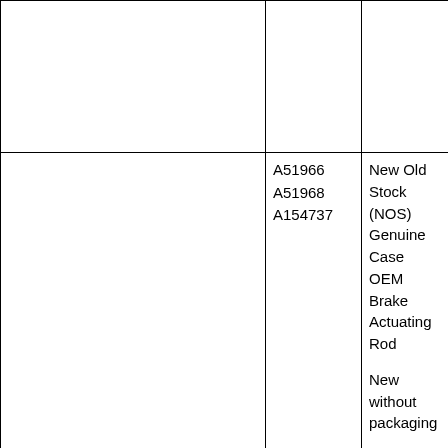|  |  |  |
|  | A51966
A51968
A154737 | New Old Stock (NOS) Genuine Case OEM Brake Actuating Rod

New without packaging.

Overall length approximately 5.5 Inches |